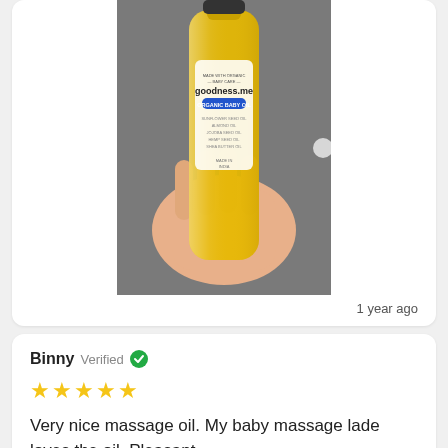[Figure (photo): A hand holding a yellow/golden transparent bottle of goodness.me Organic Baby Oil against a grey textured background. The bottle label reads 'MADE WITH ORGANIC BABY CARE - goodness.me - ORGANIC BABY OIL' with additional ingredient text below.]
1 year ago
Binny Verified
★★★★★
Very nice massage oil. My baby massage lade loves the oil. Pleasant